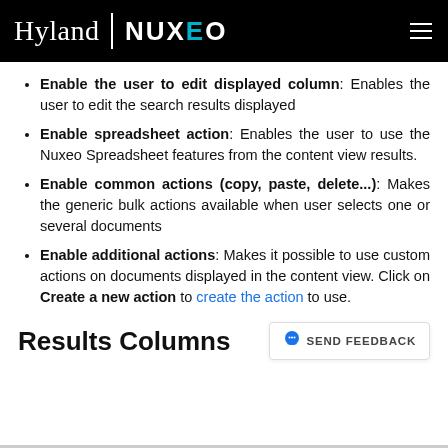Hyland | NUXEO
Enable the user to edit displayed column: Enables the user to edit the search results displayed
Enable spreadsheet action: Enables the user to use the Nuxeo Spreadsheet features from the content view results.
Enable common actions (copy, paste, delete...): Makes the generic bulk actions available when user selects one or several documents
Enable additional actions: Makes it possible to use custom actions on documents displayed in the content view. Click on Create a new action to create the action to use.
Results Columns